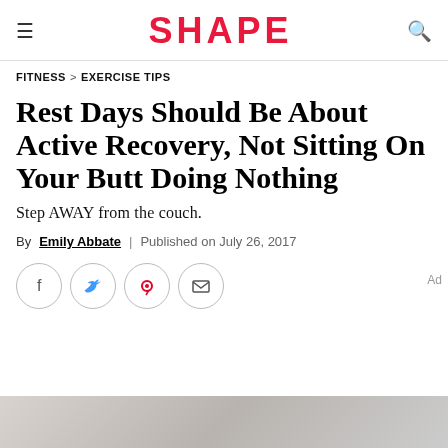SHAPE
FITNESS > EXERCISE TIPS
Rest Days Should Be About Active Recovery, Not Sitting On Your Butt Doing Nothing
Step AWAY from the couch.
By Emily Abbate | Published on July 26, 2017
[Figure (infographic): Social share icons: Facebook, Twitter, Pinterest, Email in circular outlines]
[Figure (photo): Bottom photo strip partially visible]